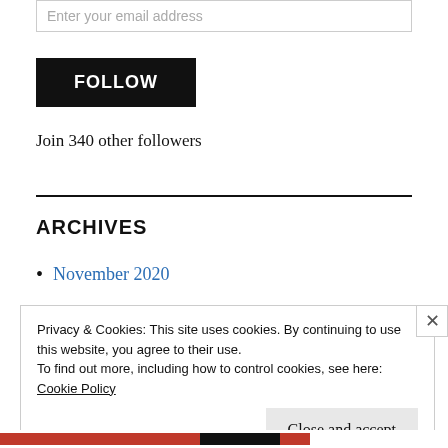Enter your email address
FOLLOW
Join 340 other followers
ARCHIVES
November 2020
Privacy & Cookies: This site uses cookies. By continuing to use this website, you agree to their use.
To find out more, including how to control cookies, see here:
Cookie Policy
Close and accept